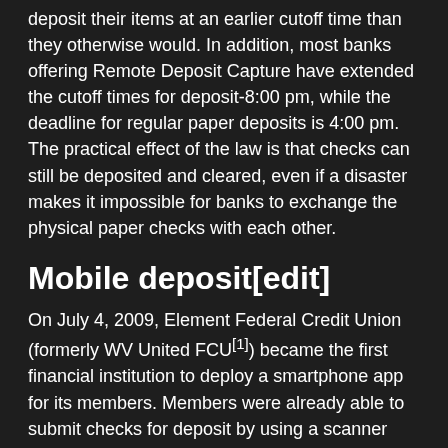deposit their items at an earlier cutoff time than they otherwise would. In addition, most banks offering Remote Deposit Capture have extended the cutoff times for deposit-8:00 pm, while the deadline for regular paper deposits is 4:00 pm. The practical effect of the law is that checks can still be deposited and cleared, even if a disaster makes it impossible for banks to exchange the physical paper checks with each other.
Mobile deposit[edit]
On July 4, 2009, Element Federal Credit Union (formerly WV United FCU[1]) became the first financial institution to deploy a smartphone app for its members. Members were already able to submit checks for deposit by using a scanner and secure web portal. USAA in 2009 became the first bank to enable customers to deposit checks with a